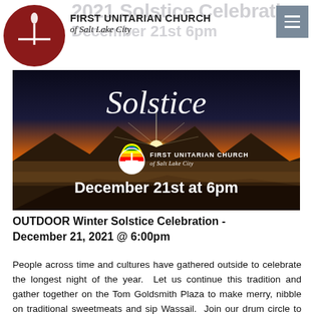FIRST UNITARIAN CHURCH of Salt Lake City
[Figure (illustration): Solstice celebration promotional image showing a mountain silhouette at sunrise with the word 'Solstice' in cursive script, First Unitarian Church of Salt Lake City logo and name, and text reading 'December 21st at 6pm']
OUTDOOR Winter Solstice Celebration - December 21, 2021 @ 6:00pm
People across time and cultures have gathered outside to celebrate the longest night of the year.  Let us continue this tradition and gather together on the Tom Goldsmith Plaza to make merry, nibble on traditional sweetmeats and sip Wassail.  Join our drum circle to encourage the